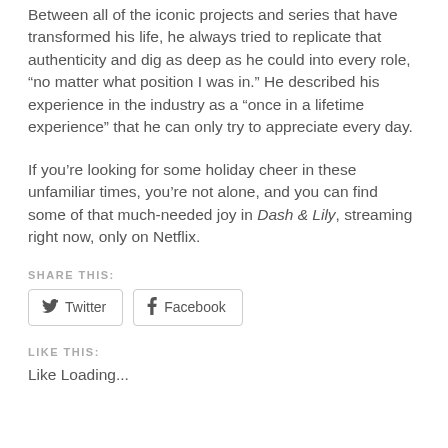Between all of the iconic projects and series that have transformed his life, he always tried to replicate that authenticity and dig as deep as he could into every role, “no matter what position I was in.” He described his experience in the industry as a “once in a lifetime experience” that he can only try to appreciate every day.
If you’re looking for some holiday cheer in these unfamiliar times, you’re not alone, and you can find some of that much-needed joy in Dash & Lily, streaming right now, only on Netflix.
SHARE THIS:
Twitter  Facebook
LIKE THIS:
Like Loading...